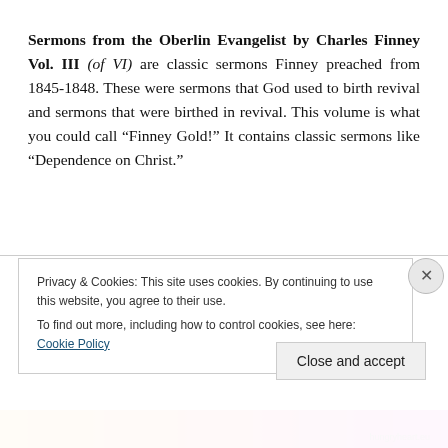Sermons from the Oberlin Evangelist by Charles Finney Vol. III (of VI) are classic sermons Finney preached from 1845-1848. These were sermons that God used to birth revival and sermons that were birthed in revival. This volume is what you could call “Finney Gold!” It contains classic sermons like “Dependence on Christ.”
Privacy & Cookies: This site uses cookies. By continuing to use this website, you agree to their use.
To find out more, including how to control cookies, see here: Cookie Policy